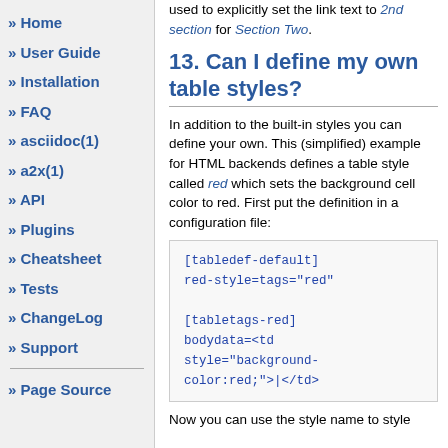used to explicitly set the link text to 2nd section for Section Two.
Home
User Guide
Installation
FAQ
asciidoc(1)
a2x(1)
API
Plugins
Cheatsheet
Tests
ChangeLog
Support
Page Source
13. Can I define my own table styles?
In addition to the built-in styles you can define your own. This (simplified) example for HTML backends defines a table style called red which sets the background cell color to red. First put the definition in a configuration file:
[tabledef-default]
red-style=tags="red"

[tabletags-red]
bodydata=<td style="background-color:red;">|</td>
Now you can use the style name to style